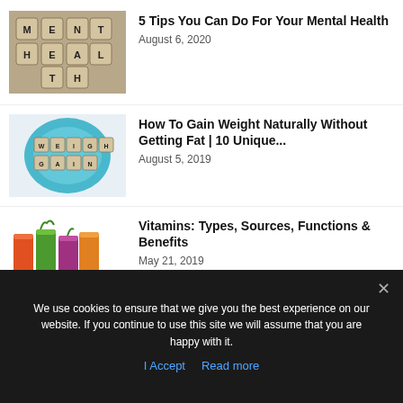[Figure (photo): Scrabble tiles spelling MENTAL HEALTH on a wooden surface]
5 Tips You Can Do For Your Mental Health
August 6, 2020
[Figure (photo): Blue plate with scrabble tiles spelling WEIGHT GAIN on white background]
How To Gain Weight Naturally Without Getting Fat | 10 Unique...
August 5, 2019
[Figure (photo): Colorful fresh vegetable juices and smoothies with vegetables and tomatoes]
Vitamins: Types, Sources, Functions & Benefits
May 21, 2019
We use cookies to ensure that we give you the best experience on our website. If you continue to use this site we will assume that you are happy with it.